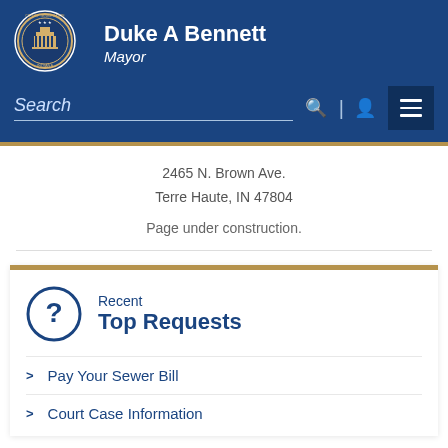[Figure (logo): City of Terre Haute seal/logo — circular emblem with blue border and gold lettering]
Duke A Bennett
Mayor
Search
2465 N. Brown Ave.
Terre Haute, IN 47804
Page under construction.
Recent Top Requests
Pay Your Sewer Bill
Court Case Information